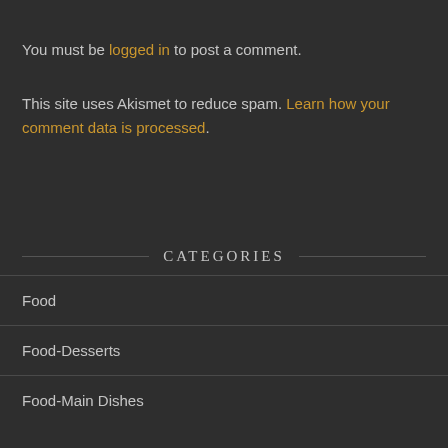You must be logged in to post a comment.
This site uses Akismet to reduce spam. Learn how your comment data is processed.
CATEGORIES
Food
Food-Desserts
Food-Main Dishes